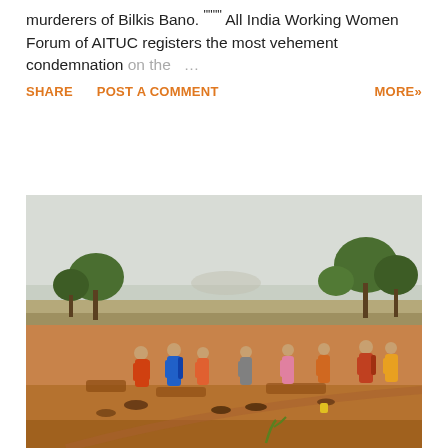murderers of Bilkis Bano. """" All India Working Women Forum of AITUC registers the most vehement condemnation on the …
SHARE   POST A COMMENT   MORE»
[Figure (photo): Outdoor photo of women in colorful saris working on a rural construction or excavation site. Open fields and trees in the background under a hazy sky.]